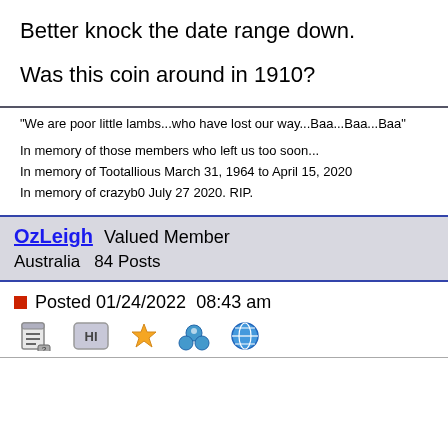Better knock the date range down.
Was this coin around in 1910?
"We are poor little lambs...who have lost our way...Baa...Baa...Baa"

In memory of those members who left us too soon...
In memory of Tootallious March 31, 1964 to April 15, 2020
In memory of crazyb0 July 27 2020. RIP.
OzLeigh  Valued Member
Australia  84 Posts
Posted 01/24/2022  08:43 am